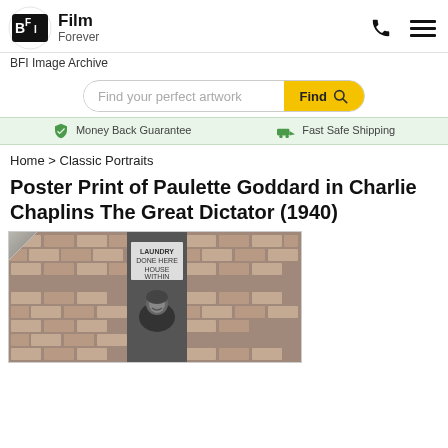BFI Film Forever — BFI Image Archive
Find your perfect artwork — Find
Money Back Guarantee   Fast Safe Shipping
Home > Classic Portraits
Poster Print of Paulette Goddard in Charlie Chaplins The Great Dictator (1940)
[Figure (photo): Black and white photo of Paulette Goddard standing in front of a brick wall with a sign reading 'Laundry Done Here House Within', smiling at the camera, from the 1940 film The Great Dictator by Charlie Chaplin.]